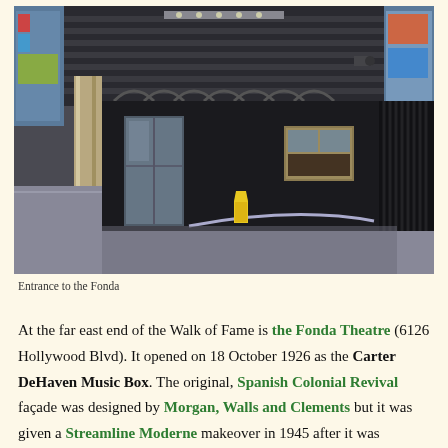[Figure (photo): Entrance to the Fonda Theatre showing a dark modernist facade with horizontal ribbed metalwork, glass entrance doors, a box office window, and a yellow wet floor caution sign on the lobby floor.]
Entrance to the Fonda
At the far east end of the Walk of Fame is the Fonda Theatre (6126 Hollywood Blvd). It opened on 18 October 1926 as the Carter DeHaven Music Box. The original, Spanish Colonial Revival façade was designed by Morgan, Walls and Clements but it was given a Streamline Moderne makeover in 1945 after it was purchased by Fox West Coast. By its early years,